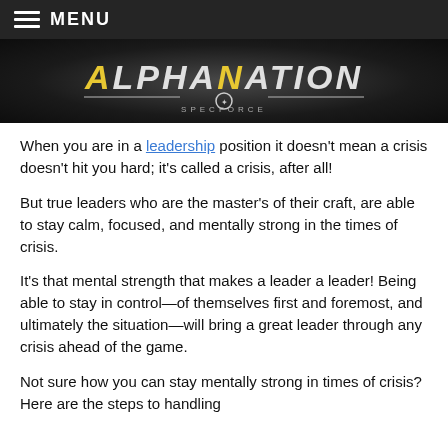MENU
[Figure (logo): AlphaNation SpecForce logo with yellow and white stylized text on dark background]
When you are in a leadership position it doesn’t mean a crisis doesn’t hit you hard; it’s called a crisis, after all!
But true leaders who are the master’s of their craft, are able to stay calm, focused, and mentally strong in the times of crisis.
It’s that mental strength that makes a leader a leader! Being able to stay in control—of themselves first and foremost, and ultimately the situation—will bring a great leader through any crisis ahead of the game.
Not sure how you can stay mentally strong in times of crisis? Here are the steps to handling